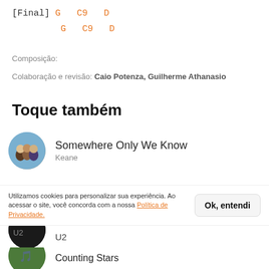[Final] G  C9  D
        G  C9  D
Composição:
Colaboração e revisão: Caio Potenza, Guilherme Athanasio
Toque também
Somewhere Only We Know - Keane
Demons - Imagine Dragons
Utilizamos cookies para personalizar sua experiência. Ao acessar o site, você concorda com a nossa Política de Privacidade.
U2
Counting Stars